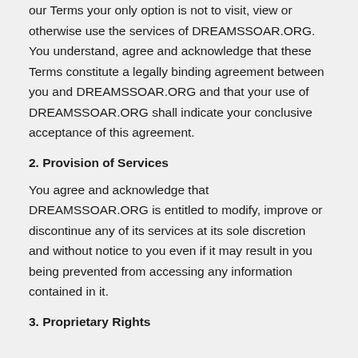our Terms your only option is not to visit, view or otherwise use the services of DREAMSSOAR.ORG. You understand, agree and acknowledge that these Terms constitute a legally binding agreement between you and DREAMSSOAR.ORG and that your use of DREAMSSOAR.ORG shall indicate your conclusive acceptance of this agreement.
2. Provision of Services
You agree and acknowledge that DREAMSSOAR.ORG is entitled to modify, improve or discontinue any of its services at its sole discretion and without notice to you even if it may result in you being prevented from accessing any information contained in it.
3. Proprietary Rights